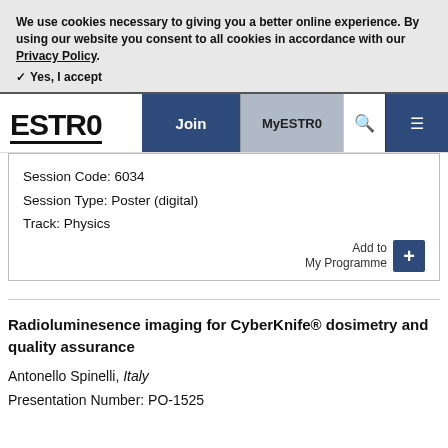We use cookies necessary to giving you a better online experience. By using our website you consent to all cookies in accordance with our Privacy Policy.
✓ Yes, I accept
[Figure (logo): ESTRO logo with navigation bar including Join, MyESTRO, search and menu buttons]
Session Code: 6034
Session Type: Poster (digital)
Track: Physics
Add to My Programme
Radioluminesence imaging for CyberKnife® dosimetry and quality assurance
Antonello Spinelli, Italy
Presentation Number: PO-1525